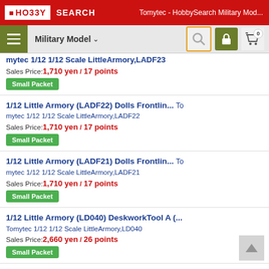HO33Y SEARCH — Tomytec - HobbySearch Military Mod...
Military Model
mytec 1/12 1/12 Scale LittleArmory,LADF23
Sales Price: 1,710 yen / 17 points
Small Packet
1/12 Little Armory (LADF22) Dolls Frontlin... Tomytec 1/12 1/12 Scale LittleArmory,LADF22
Sales Price: 1,710 yen / 17 points
Small Packet
1/12 Little Armory (LADF21) Dolls Frontlin... Tomytec 1/12 1/12 Scale LittleArmory,LADF21
Sales Price: 1,710 yen / 17 points
Small Packet
1/12 Little Armory (LD040) DeskworkTool A (... Tomytec 1/12 1/12 Scale LittleArmory,LD040
Sales Price: 2,660 yen / 26 points
Small Packet
1/12 Little Armory (LD039) Field Desk A2 (... Tomytec 1/12 1/12 Scale LittleArmory,LD039